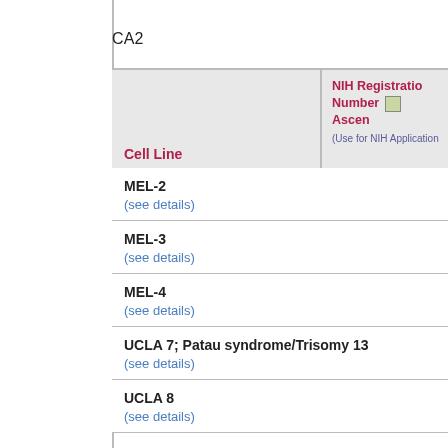CA2
| Cell Line | NIH Registration Number Ascension (Use for NIH Application) |
| --- | --- |
| MEL-2
(see details) |  |
| MEL-3
(see details) |  |
| MEL-4
(see details) |  |
| UCLA 7; Patau syndrome/Trisomy 13
(see details) |  |
| UCLA 8
(see details) |  |